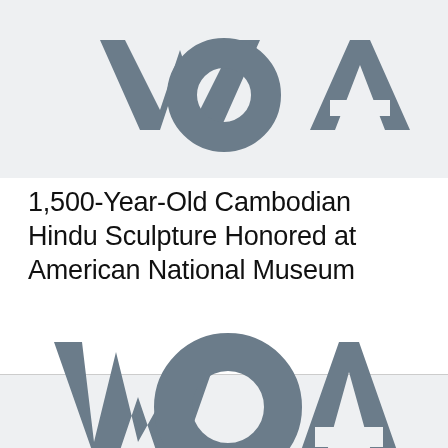[Figure (logo): VOA (Voice of America) logo in gray on light gray background, partially cropped at top]
1,500-Year-Old Cambodian Hindu Sculpture Honored at American National Museum
[Figure (logo): VOA (Voice of America) logo in gray on light gray background, full logo visible]
[Figure (other): Small broken image icon placeholder]